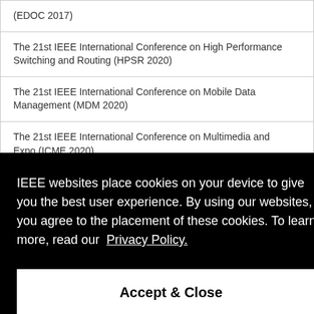(EDOC 2017)
The 21st IEEE International Conference on High Performance Switching and Routing (HPSR 2020)
The 21st IEEE International Conference on Mobile Data Management (MDM 2020)
The 21st IEEE International Conference on Multimedia and Expo (ICME 2020)
[partial] ...2020)
[partial] ...SM
[partial] ...and
Wireless, Mobile and Multimedia Networks (WoWMoM 2021)
IEEE websites place cookies on your device to give you the best user experience. By using our websites, you agree to the placement of these cookies. To learn more, read our Privacy Policy.
Accept & Close